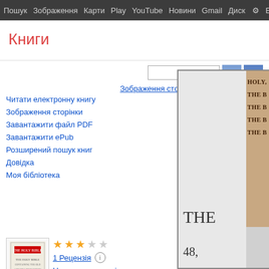Пошук  Зображення  Карти  Play  YouTube  Новини  Gmail  Диск  Б
Книги
Читати електронну книгу
Зображення сторінки
Завантажити файл PDF
Завантажити ePub
Розширений пошук книг
Довідка
Моя бібліотека
[Figure (screenshot): Book cover thumbnail for The Holy Bible]
1 Рецензія
Написати рецензію
The Holy Bible: Containing the Old and New Testaments and the Apocrypha
[Figure (screenshot): Scanned page of The Holy Bible showing partial text 'THE' and page number '48,' with tabbed spine showing 'HOLY,' 'THE B', 'THE B', 'THE B', 'THE B']